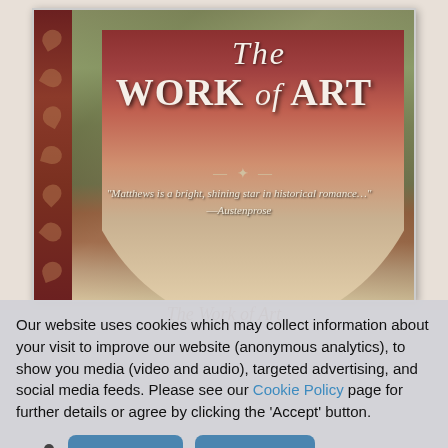[Figure (illustration): Book cover for 'The Work of Art' showing a woman in a red cape from behind, standing in a pastoral scene. The cover has a dark red decorative left border with floral/leaf ornaments. The title reads 'The WORK of ART' in large serif text. A pull quote reads: "Matthews is a bright, shining star in historical romance..." —Austenprose]
The Work of Art
Our website uses cookies which may collect information about your visit to improve our website (anonymous analytics), to show you media (video and audio), targeted advertising, and social media feeds. Please see our Cookie Policy page for further details or agree by clicking the 'Accept' button.